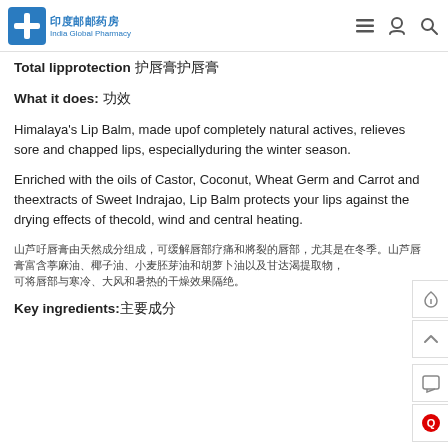印度邮药房 India Global Pharmacy
Total lipprotection 护唇膏
What it does: 功效
Himalaya's Lip Balm, made upof completely natural actives, relieves sore and chapped lips, especiallyduring the winter season.
Enriched with the oils of Castor, Coconut, Wheat Germ and Carrot and theextracts of Sweet Indrajao, Lip Balm protects your lips against the drying effects of thecold, wind and central heating.
（Chinese text paragraph 1）（Chinese text paragraph 2）
Key ingredients:主要成分